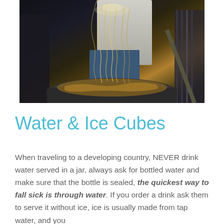[Figure (photo): People cooking or pouring food in a large wok or pan outdoors, with steam or noodles visible being tossed, crowd in background]
Water & Ice Cubes
When traveling to a developing country, NEVER drink water served in a jar, always ask for bottled water and make sure that the bottle is sealed, the quickest way to fall sick is through water. If you order a drink ask them to serve it without ice, ice is usually made from tap water, and you